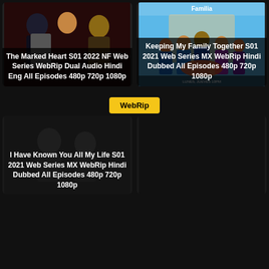[Figure (photo): Movie poster for The Marked Heart S01 2022 NF Web Series with three actors]
The Marked Heart S01 2022 NF Web Series WebRip Dual Audio Hindi Eng All Episodes 480p 720p 1080p
[Figure (photo): Poster for Keeping My Family Together S01 2021 Web Series MX WebRip with family cast]
Keeping My Family Together S01 2021 Web Series MX WebRip Hindi Dubbed All Episodes 480p 720p 1080p
WebRip
[Figure (photo): Poster for I Have Known You All My Life S01 2021 Web Series MX WebRip Hindi Dubbed]
I Have Known You All My Life S01 2021 Web Series MX WebRip Hindi Dubbed All Episodes 480p 720p 1080p
[Figure (photo): Dark placeholder for second bottom card]